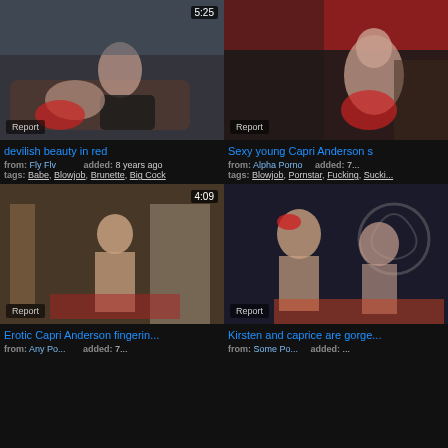[Figure (screenshot): Video thumbnail: devilish beauty in red - couple on couch, duration 5:25, Report badge]
devilish beauty in red
from: Fly Flv   added: 8 years ago
tags: Babe, Blowjob, Brunette, Big Cock
[Figure (screenshot): Video thumbnail: Sexy young Capri Anderson s... - woman in red, Report badge]
Sexy young Capri Anderson s
from: Alpha Porno   added: 7...
tags: Blowjob, Pornstar, Fucking, Sucki...
[Figure (screenshot): Video thumbnail: Erotic Capri Anderson fingerin... - woman standing, duration 4:09, Report badge]
Erotic Capri Anderson fingerin...
from: Any Po...   added: 7...
[Figure (screenshot): Video thumbnail: Kirsten and caprice are gorge... - two women, Report badge]
Kirsten and caprice are gorge...
from: Some Po...   added: ...